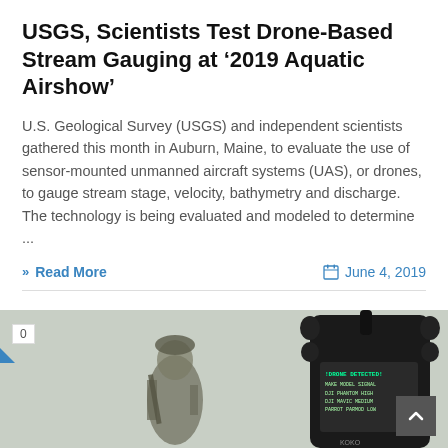USGS, Scientists Test Drone-Based Stream Gauging at ‘2019 Aquatic Airshow’
U.S. Geological Survey (USGS) and independent scientists gathered this month in Auburn, Maine, to evaluate the use of sensor-mounted unmanned aircraft systems (UAS), or drones, to gauge stream stage, velocity, bathymetry and discharge. The technology is being evaluated and modeled to determine ...
» Read More
June 4, 2019
[Figure (photo): Photo of a soldier in military gear in the background and a handheld drone detection device in the foreground showing a screen with DRONE DETECTED text and a table showing: DJI PHANTOM HIGH, DJI MAVIC MEDIUM, PARROT PARMOD LOW]